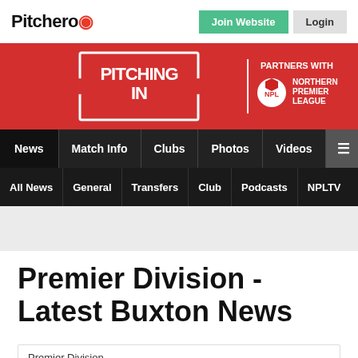Pitchero
[Figure (screenshot): Pitching In - Partners with Northern Premier League banner on red background]
News | Match Info | Clubs | Photos | Videos | ☰
All News | General | Transfers | Club | Podcasts | NPLTV
Premier Division - Latest Buxton News
Premier Division